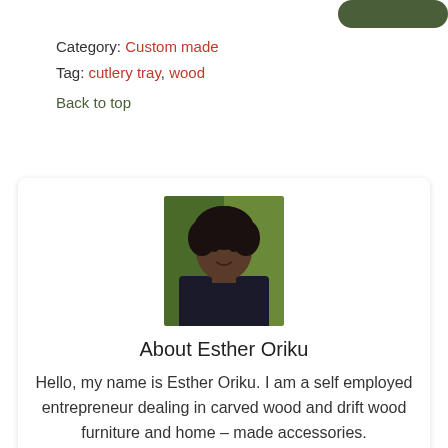[Figure (other): Dark green rounded rectangle button in top-right corner]
Category: Custom made
Tag: cutlery tray, wood
Back to top
[Figure (photo): Portrait photo of Esther Oriku, a woman with curly dark hair, wearing dark clothing, photographed outdoors]
About Esther Oriku
Hello, my name is Esther Oriku. I am a self employed entrepreneur dealing in carved wood and drift wood furniture and home – made accessories.
I have been in business for the last eight years